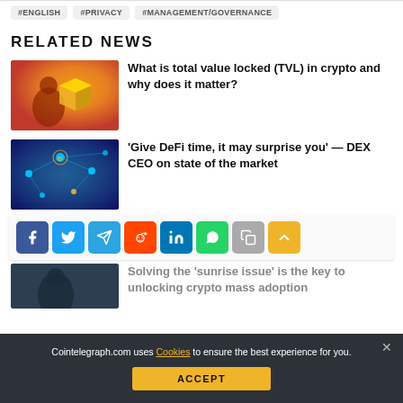RELATED NEWS
[Figure (photo): Person holding a glowing golden cube/crypto token, warm orange background]
What is total value locked (TVL) in crypto and why does it matter?
[Figure (photo): DeFi network visualization with glowing nodes and connections on blue background]
'Give DeFi time, it may surprise you' — DEX CEO on state of the market
[Figure (infographic): Social share buttons row: Facebook, Twitter, Telegram, Reddit, LinkedIn, WhatsApp, Copy, Up arrow]
[Figure (photo): Partially visible third news item image (dark, person silhouette)]
Solving the 'sunrise issue' is the key to unlocking crypto mass adoption
Cointelegraph.com uses Cookies to ensure the best experience for you.
ACCEPT